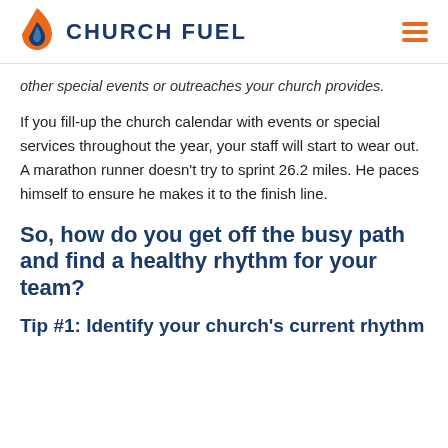CHURCH FUEL
other special events or outreaches your church provides.
If you fill-up the church calendar with events or special services throughout the year, your staff will start to wear out. A marathon runner doesn't try to sprint 26.2 miles. He paces himself to ensure he makes it to the finish line.
So, how do you get off the busy path and find a healthy rhythm for your team?
Tip #1: Identify your church's current rhythm